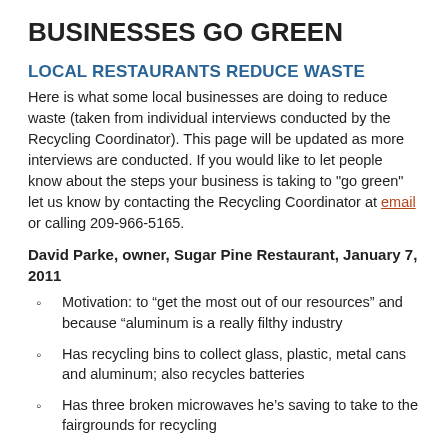BUSINESSES GO GREEN
LOCAL RESTAURANTS REDUCE WASTE
Here is what some local businesses are doing to reduce waste (taken from individual interviews conducted by the Recycling Coordinator). This page will be updated as more interviews are conducted. If you would like to let people know about the steps your business is taking to "go green" let us know by contacting the Recycling Coordinator at email or calling 209-966-5165.
David Parke, owner, Sugar Pine Restaurant, January 7, 2011
Motivation: to “get the most out of our resources” and because “aluminum is a really filthy industry
Has recycling bins to collect glass, plastic, metal cans and aluminum; also recycles batteries
Has three broken microwaves he’s saving to take to the fairgrounds for recycling